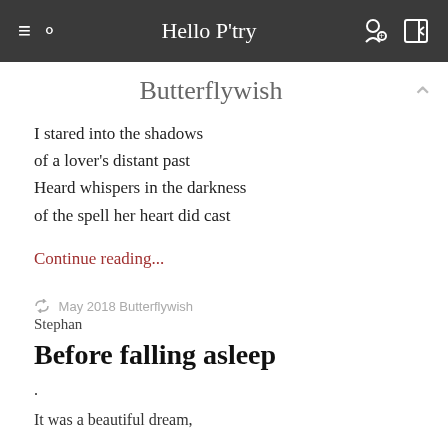Hello P'try
Butterflywish
I stared into the shadows
of a lover's distant past
Heard whispers in the darkness
of the spell her heart did cast
Continue reading...
May 2018 Butterflywish
Stephan
Before falling asleep
.
It was a beautiful dream,